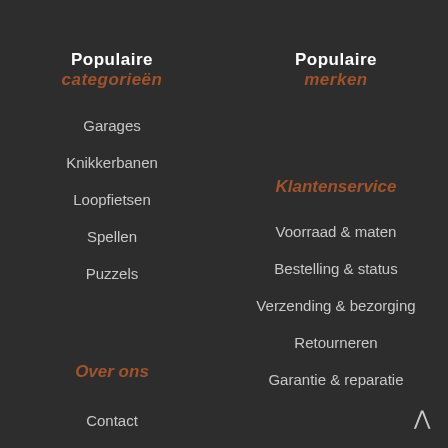Populaire categorieën
Garages
Knikkerbanen
Loopfietsen
Spellen
Puzzels
Over ons
Contact
Blog
Populaire merken
Klantenservice
Voorraad & maten
Bestelling & status
Verzending & bezorging
Retourneren
Garantie & reparatie